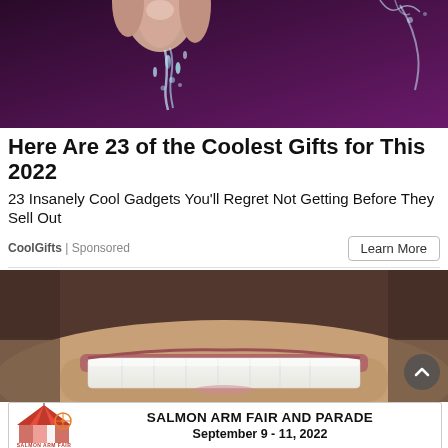[Figure (photo): Close-up photo of a hand/finger touching water droplets against a dark purple background]
Here Are 23 of the Coolest Gifts for This 2022
23 Insanely Cool Gadgets You'll Regret Not Getting Before They Sell Out
CoolGifts | Sponsored
Learn More
[Figure (photo): Close-up photo of a man's face showing white teeth smile with stubble beard]
[Figure (logo): Salmon Arm Fair and Parade advertisement banner with logo and text: SALMON ARM FAIR AND PARADE September 9 - 11, 2022]